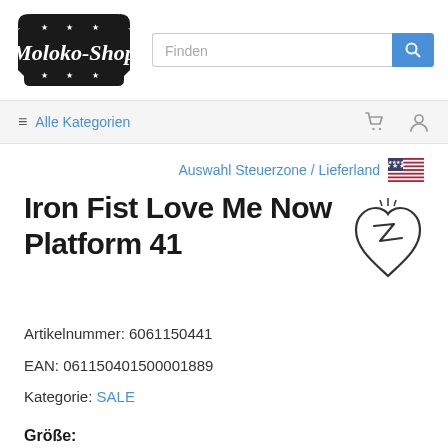[Figure (logo): Moloko-Shop logo — black badge shape with white text and stars]
Finden [search box] [search button]
≡ Alle Kategorien [cart icon] [user icon]
Auswahl Steuerzone / Lieferland 🇺🇸
Iron Fist Love Me Now Platform 41
[Figure (logo): Iron Fist brand logo — stylized heart with lightning bolt signature]
Artikelnummer: 6061150441
EAN: 061150401500001889
Kategorie: SALE
Größe: